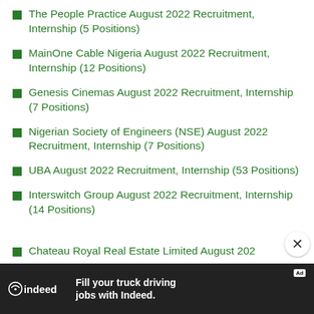The People Practice August 2022 Recruitment, Internship (5 Positions)
MainOne Cable Nigeria August 2022 Recruitment, Internship (12 Positions)
Genesis Cinemas August 2022 Recruitment, Internship (7 Positions)
Nigerian Society of Engineers (NSE) August 2022 Recruitment, Internship (7 Positions)
UBA August 2022 Recruitment, Internship (53 Positions)
Interswitch Group August 2022 Recruitment, Internship (14 Positions)
Chateau Royal Real Estate Limited August 202…
[Figure (screenshot): Indeed advertisement banner: 'Fill your truck driving jobs with Indeed.' with Indeed logo on dark background]